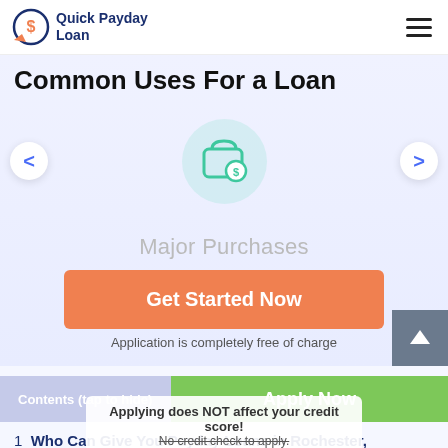[Figure (logo): Quick Payday Loan logo with circular dollar sign icon and orange arrow]
Common Uses For a Loan
[Figure (illustration): Green tinted icon of a wallet/purse with a dollar coin]
Major Purchases
Get Started Now
Application is completely free of charge
Contents (tap to hide)
Apply Now
Applying does NOT affect your credit score!
No credit check to apply.
1  Who Can Give You Payday Loans in Rochester, Michigan